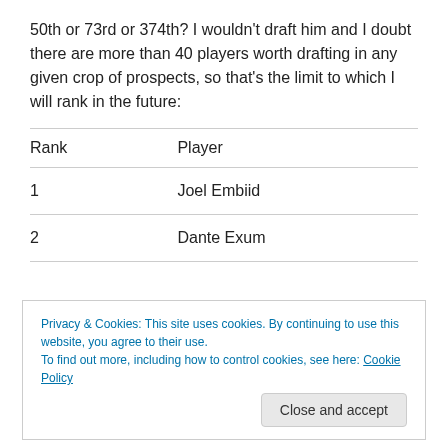50th or 73rd or 374th? I wouldn't draft him and I doubt there are more than 40 players worth drafting in any given crop of prospects, so that's the limit to which I will rank in the future:
| Rank | Player |
| --- | --- |
| 1 | Joel Embiid |
| 2 | Dante Exum |
Privacy & Cookies: This site uses cookies. By continuing to use this website, you agree to their use.
To find out more, including how to control cookies, see here: Cookie Policy